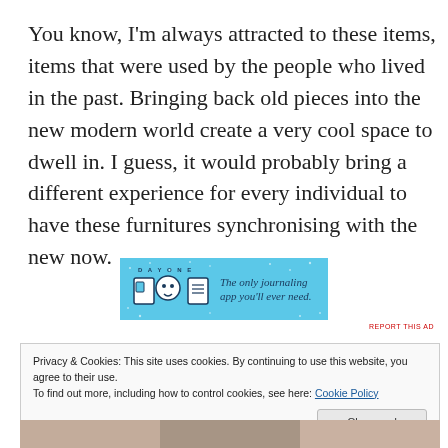You know, I’m always attracted to these items, items that were used by the people who lived in the past. Bringing back old pieces into the new modern world create a very cool space to dwell in. I guess, it would probably bring a different experience for every individual to have these furnitures synchronising with the new now.
[Figure (screenshot): DAY ONE app advertisement banner with blue background, icons of a door, person, and notebook, with text 'The only journaling app you’ll ever need.']
REPORT THIS AD
Privacy & Cookies: This site uses cookies. By continuing to use this website, you agree to their use.
To find out more, including how to control cookies, see here: Cookie Policy

Close and accept
[Figure (photo): Partial view of a photograph at the bottom of the page]